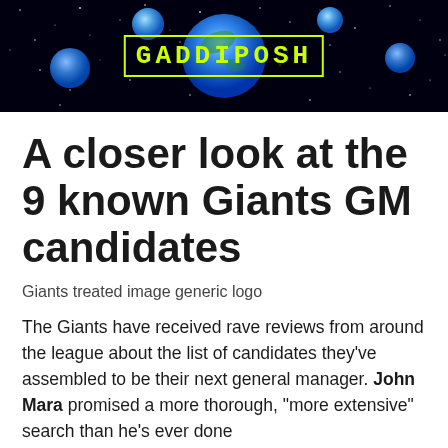[Figure (logo): GADDIPOSH website banner: black starfield background with blue planet/earth in center, smaller blue spheres/moons scattered around, yellow-green text 'GADDIPOSH' in uppercase monospace font with rectangular border]
A closer look at the 9 known Giants GM candidates
Giants treated image generic logo
The Giants have received rave reviews from around the league about the list of candidates they've assembled to be their next general manager. John Mara promised a more thorough, "more extensive" search than he's ever done before.